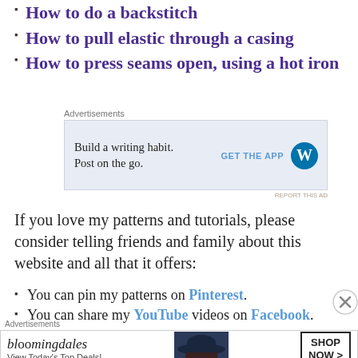How to do a backstitch
How to pull elastic through a casing
How to press seams open, using a hot iron
[Figure (other): Advertisement: WordPress app - Build a writing habit. Post on the go. GET THE APP]
If you love my patterns and tutorials, please consider telling friends and family about this website and all that it offers:
You can pin my patterns on Pinterest.
You can share my YouTube videos on Facebook.
[Figure (other): Advertisement: Bloomingdales - View Today's Top Deals! SHOP NOW >]